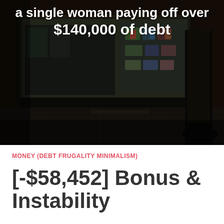[Figure (photo): Dark nighttime photo of a shop window front with colorful products visible inside. A person's leg and foot in dark clothing is visible on the right side. The scene shows a sidewalk/pavement in the foreground.]
a single woman paying off over $140,000 of debt
MONEY (DEBT FRUGALITY MINIMALISM)
[-$58,452] Bonus & Instability